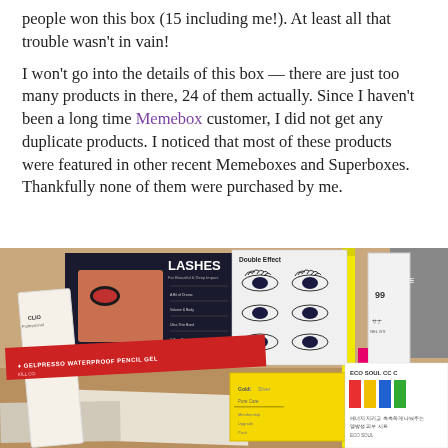people won this box (15 including me!). At least all that trouble wasn't in vain!
I won't go into the details of this box — there are just too many products in there, 24 of them actually. Since I haven't been a long time Memebox customer, I did not get any duplicate products. I noticed that most of these products were featured in other recent Memeboxes and Superboxes. Thankfully none of them were purchased by me.
[Figure (photo): Photo of multiple Korean beauty products laid out including false lashes packaging, a Gelpresso waterproof pencil gel product, eyeliner/double effect packaging, a yellow pencil/pen, white product box, grey box, yellow packets, and colorful product packaging with Korean text.]